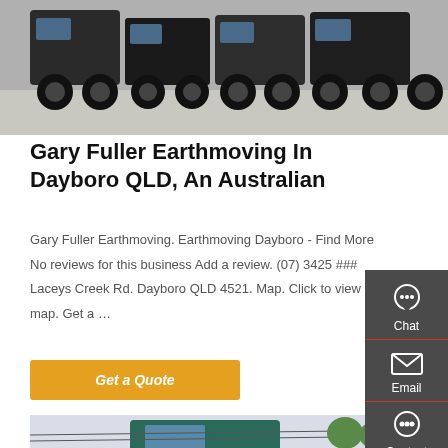[Figure (photo): Row of large heavy trucks/dump trucks parked in a yard, viewed from front-left angle]
Gary Fuller Earthmoving In Dayboro QLD, An Australian
Gary Fuller Earthmoving. Earthmoving Dayboro - Find More No reviews for this business Add a review. (07) 3425 ### Laceys Creek Rd. Dayboro QLD 4521. Map. Click to view map. Get a ...
[Figure (other): Button: Get a Quote (orange/amber background with white italic text)]
[Figure (photo): A green truck cab viewed from front-side angle, with power lines and trees in background]